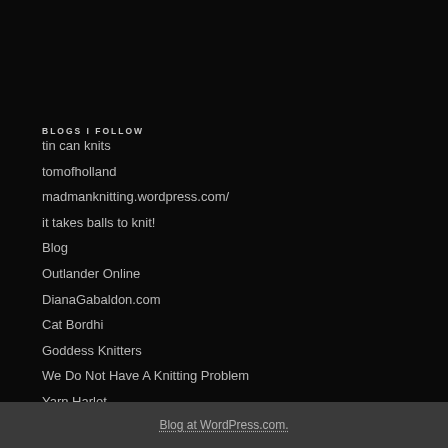BLOGS I FOLLOW
tin can knits
tomofholland
madmanknitting.wordpress.com/
it takes balls to knit!
Blog
Outlander Online
DianaGabaldon.com
Cat Bordhi
Goddess Knitters
We Do Not Have A Knitting Problem
Yarn Harlot
Blog at WordPress.com.